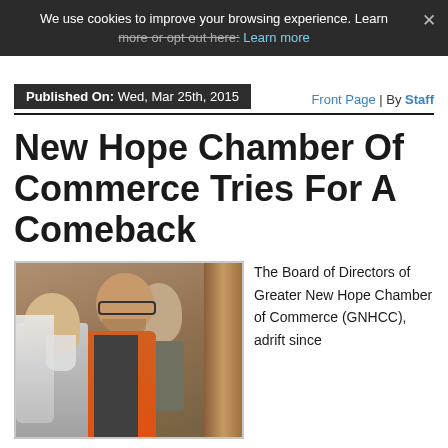We use cookies to improve your browsing experience. Learn more or opt out here: Learn more
Published On: Wed, Mar 25th, 2015  Front Page | By Staff
New Hope Chamber Of Commerce Tries For A Comeback
[Figure (photo): Photo of people at a meeting, one man in an orange vest speaking, another with long white hair in foreground]
The Board of Directors of Greater New Hope Chamber of Commerce (GNHCC), adrift since